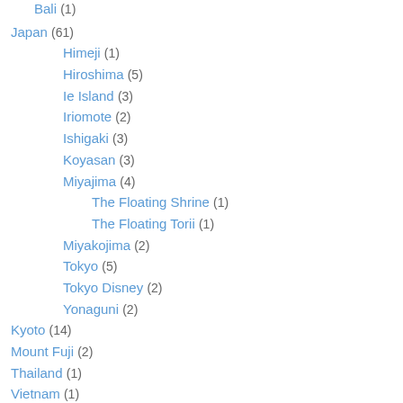Bali (1)
Japan (61)
Himeji (1)
Hiroshima (5)
Ie Island (3)
Iriomote (2)
Ishigaki (3)
Koyasan (3)
Miyajima (4)
The Floating Shrine (1)
The Floating Torii (1)
Miyakojima (2)
Tokyo (5)
Tokyo Disney (2)
Yonaguni (2)
Kyoto (14)
Mount Fuji (2)
Thailand (1)
Vietnam (1)
Traces of War (30)